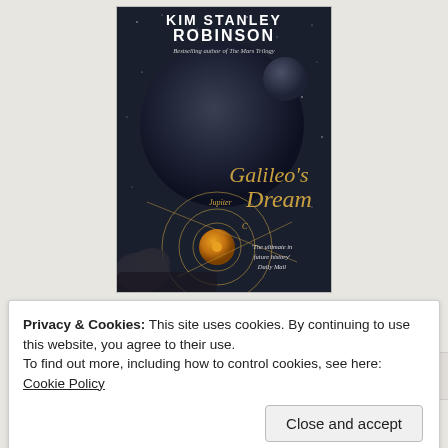[Figure (illustration): Book cover of 'Galileo's Dream' by Kim Stanley Robinson. Dark space background with planets, one large dark planet dominating center, smaller planet to the right, and golden/orange astronomical diagrams at the bottom showing Jupiter and orbital circles. Text reads 'KIM STANLEY ROBINSON', 'Bestselling author of The Mars Trilogy', 'Galileo's Dream', and quote 'The ultimate in future history' Daily Mail.]
Privacy & Cookies: This site uses cookies. By continuing to use this website, you agree to their use.
To find out more, including how to control cookies, see here: Cookie Policy